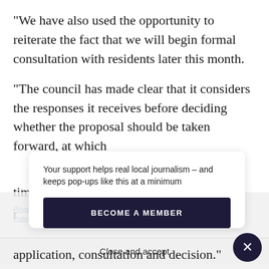“We have also used the opportunity to reiterate the fact that we will begin formal consultation with residents later this month.
“The council has made clear that it considers the responses it receives before deciding whether the proposal should be taken forward, at which time a fo[rmal planning] t[...] u[...] l[...]
Your support helps real local journalism – and keeps pop-ups like this at a minimum
BECOME A MEMBER
Privacy & [...] website, yo[...] To find out[...] Policy
Close and accept
application, consultation and decision.”